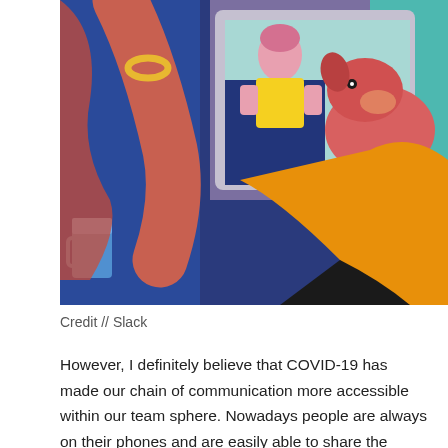[Figure (illustration): Colorful illustrated scene showing a person in a yellow top holding up a phone/tablet displaying a video call with a child in a yellow shirt. A dog with pink/red coloring is visible on the right side. There is a blue coffee mug on the left. The background features bold geometric shapes in blue, teal, purple, and orange colors.]
Credit // Slack
However, I definitely believe that COVID-19 has made our chain of communication more accessible within our team sphere. Nowadays people are always on their phones and are easily able to share the latest stories. In terms of communication, it is easier to set up meetings whether it is with a colleague or